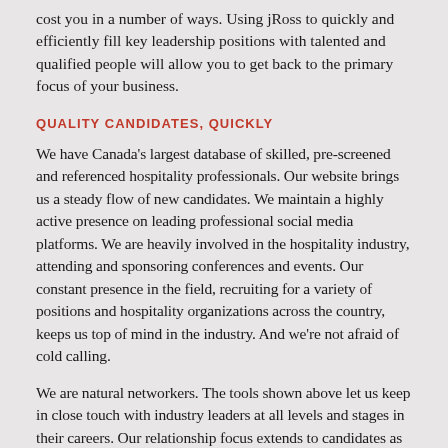cost you in a number of ways. Using jRoss to quickly and efficiently fill key leadership positions with talented and qualified people will allow you to get back to the primary focus of your business.
QUALITY CANDIDATES, QUICKLY
We have Canada's largest database of skilled, pre-screened and referenced hospitality professionals. Our website brings us a steady flow of new candidates. We maintain a highly active presence on leading professional social media platforms. We are heavily involved in the hospitality industry, attending and sponsoring conferences and events. Our constant presence in the field, recruiting for a variety of positions and hospitality organizations across the country, keeps us top of mind in the industry. And we're not afraid of cold calling.
We are natural networkers. The tools shown above let us keep in close touch with industry leaders at all levels and stages in their careers. Our relationship focus extends to candidates as well as clients – we're all about creating great outcomes for all parties, and as a result we receive a steady stream of quality referrals. We are a full-service agency - covering the sourcing, interviewing,